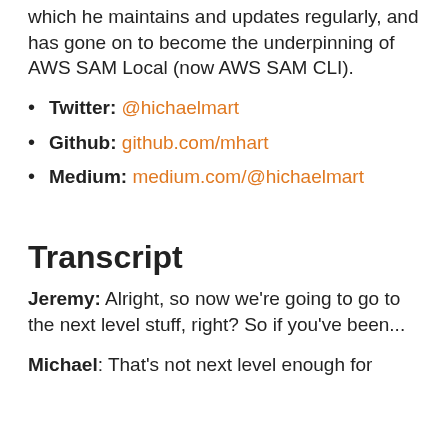which he maintains and updates regularly, and has gone on to become the underpinning of AWS SAM Local (now AWS SAM CLI).
Twitter: @hichaelmart
Github: github.com/mhart
Medium: medium.com/@hichaelmart
Transcript
Jeremy: Alright, so now we're going to go to the next level stuff, right? So if you've been...
Michael: That's not next level enough for